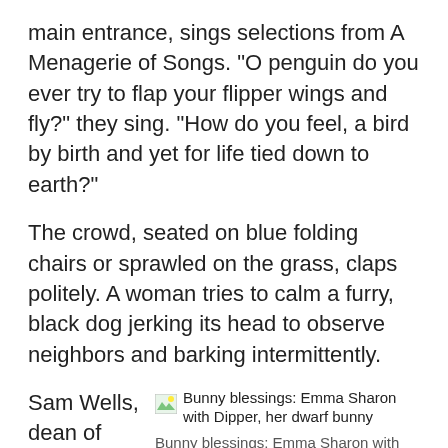main entrance, sings selections from A Menagerie of Songs. "O penguin do you ever try to flap your flipper wings and fly?" they sing. "How do you feel, a bird by birth and yet for life tied down to earth?"
The crowd, seated on blue folding chairs or sprawled on the grass, claps politely. A woman tries to calm a furry, black dog jerking its head to observe neighbors and barking intermittently.
Sam Wells, dean of Duke Chapel, delivers the homily, which draws on his own experience as a pet owner. "It took me a long time before I was persuaded to get a dog," he says. He was concerned that dividing his attention wouldn't be fair to either his dog or his congregation. "But then a dog came
[Figure (photo): Thumbnail image icon for Bunny blessings: Emma Sharon with Dipper, her dwarf bunny]
Bunny blessings: Emma Sharon with Dipper, her dwarf bunny. Butch Usery